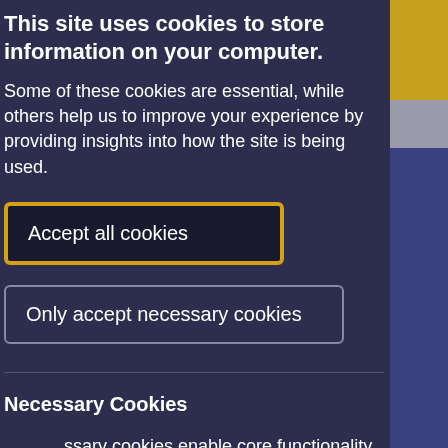This site uses cookies to store information on your computer.
Some of these cookies are essential, while others help us to improve your experience by providing insights into how the site is being used.
Accept all cookies
Only accept necessary cookies
Necessary Cookies
essary cookies enable core functionality such as vigation and access to secure areas. The not function properly without these